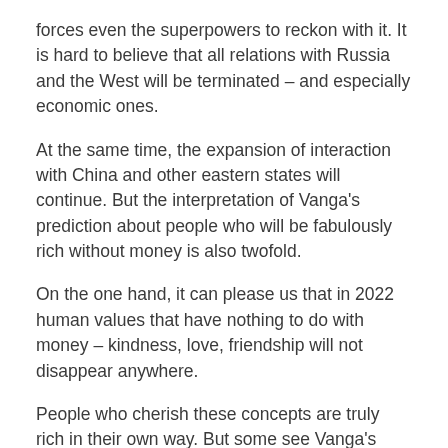forces even the superpowers to reckon with it. It is hard to believe that all relations with Russia and the West will be terminated – and especially economic ones.
At the same time, the expansion of interaction with China and other eastern states will continue. But the interpretation of Vanga's prediction about people who will be fabulously rich without money is also twofold.
On the one hand, it can please us that in 2022 human values that have nothing to do with money – kindness, love, friendship will not disappear anywhere.
People who cherish these concepts are truly rich in their own way. But some see Vanga's much greater insight in this statement – and they say that the soothsayer means electronic money.
The world will continue to be flooded with payment systems that will allow you to abandon cash in favor of electronic money. And therefore, the person who does not even hold a single banknote in